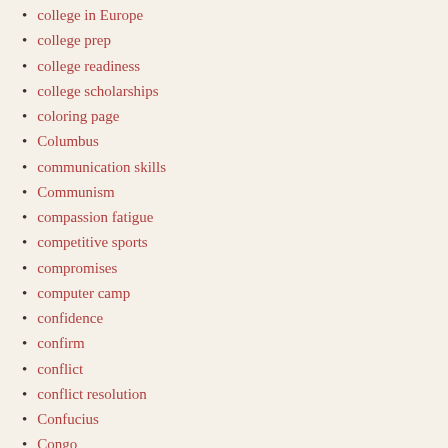college in Europe
college prep
college readiness
college scholarships
coloring page
Columbus
communication skills
Communism
compassion fatigue
competitive sports
compromises
computer camp
confidence
confirm
conflict
conflict resolution
Confucius
Congo